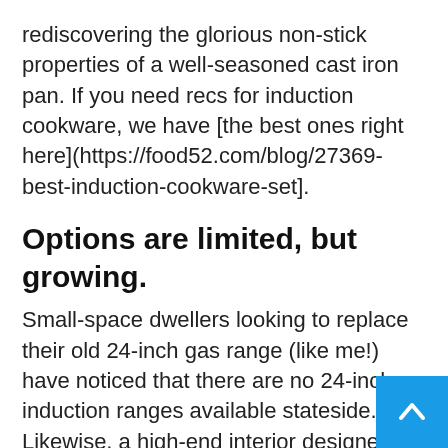rediscovering the glorious non-stick properties of a well-seasoned cast iron pan. If you need recs for induction cookware, we have [the best ones right here](https://food52.com/blog/27369-best-induction-cookware-set].
Options are limited, but growing.
Small-space dwellers looking to replace their old 24-inch gas range (like me!) have noticed that there are no 24-inch induction ranges available stateside. Likewise, a high-end interior designer told me she was longing for a 48-inch version for one of her clients. Fouertini says 30 or 36 inches is the standard, but more options are coming. (In fact, his company is working on producing a 48-inch induction range). “It is a bigger piece of glass, you have to think about how to transport it,” he